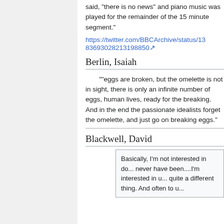said, "there is no news" and piano music was played for the remainder of the 15 minute segment."
https://twitter.com/BBCArchive/status/1383693028213198850
Berlin, Isaiah
""eggs are broken, but the omelette is not in sight, there is only an infinite number of eggs, human lives, ready for the breaking. And in the end the passionate idealists forget the omelette, and just go on breaking eggs."
Blackwell, David
Basically, I'm not interested in do... never have been....I'm interested in u... quite a different thing. And often to u...